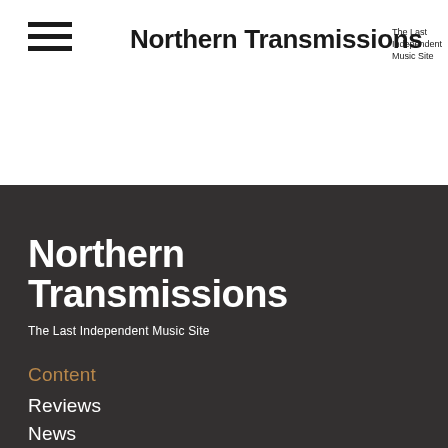[Figure (other): Hamburger menu icon with three horizontal lines]
Northern Transmissions
The Last Independent Music Site
Northern Transmissions
The Last Independent Music Site
Content
Reviews
News